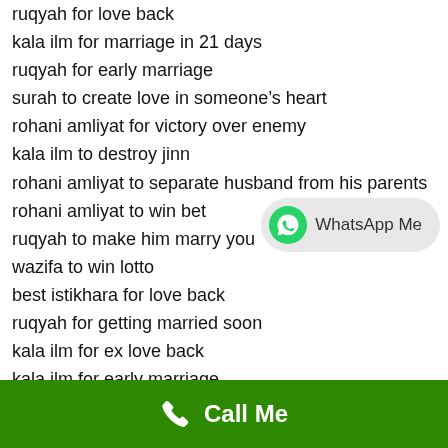ruqyah for love back
kala ilm for marriage in 21 days
ruqyah for early marriage
surah to create love in someone's heart
rohani amliyat for victory over enemy
kala ilm to destroy jinn
rohani amliyat to separate husband from his parents
rohani amliyat to win bet
ruqyah to make him marry you
wazifa to win lotto
best istikhara for love back
ruqyah for getting married soon
kala ilm for ex love back
kala ilm for early marriage
kala ilm to have a baby
rohani amliyat to destroy your enemy
ruqyah to make someone love you
ruqyah to break someone marriage
[Figure (other): WhatsApp Me button with green WhatsApp phone icon on grey rounded bubble]
Call Me